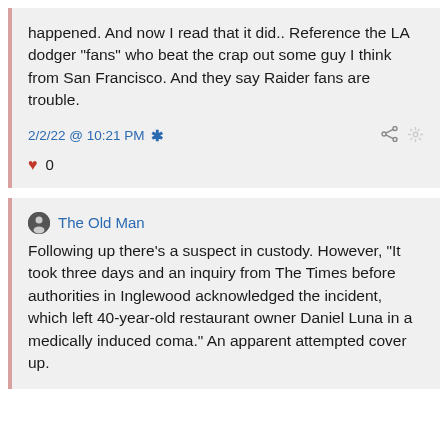happened. And now I read that it did.. Reference the LA dodger "fans" who beat the crap out some guy I think from San Francisco. And they say Raider fans are trouble.
2/2/22 @ 10:21 PM *
♥ 0
The Old Man
Following up there's a suspect in custody. However, "It took three days and an inquiry from The Times before authorities in Inglewood acknowledged the incident, which left 40-year-old restaurant owner Daniel Luna in a medically induced coma." An apparent attempted cover up.